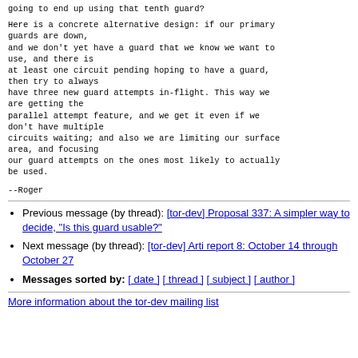going to end up using that tenth guard?

Here is a concrete alternative design: if our primary guards are down,
and we don't yet have a guard that we know we want to use, and there is
at least one circuit pending hoping to have a guard, then try to always
have three new guard attempts in-flight. This way we are getting the
parallel attempt feature, and we get it even if we don't have multiple
circuits waiting; and also we are limiting our surface area, and focusing
our guard attempts on the ones most likely to actually be used.
--Roger
Previous message (by thread): [tor-dev] Proposal 337: A simpler way to decide, "Is this guard usable?"
Next message (by thread): [tor-dev] Arti report 8: October 14 through October 27
Messages sorted by: [ date ] [ thread ] [ subject ] [ author ]
More information about the tor-dev mailing list